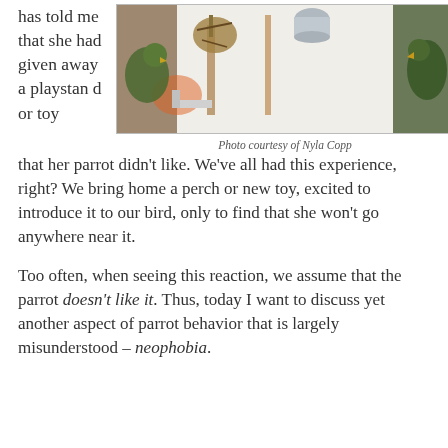has told me that she had given away a playstand or toy
[Figure (photo): Photo of parrots on a playstand with a metal bowl, taken against a white wall. Two green parrots visible on the sides of a wooden perch structure.]
Photo courtesy of Nyla Copp
that her parrot didn't like. We've all had this experience, right? We bring home a perch or new toy, excited to introduce it to our bird, only to find that she won't go anywhere near it.
Too often, when seeing this reaction, we assume that the parrot doesn't like it. Thus, today I want to discuss yet another aspect of parrot behavior that is largely misunderstood – neophobia.